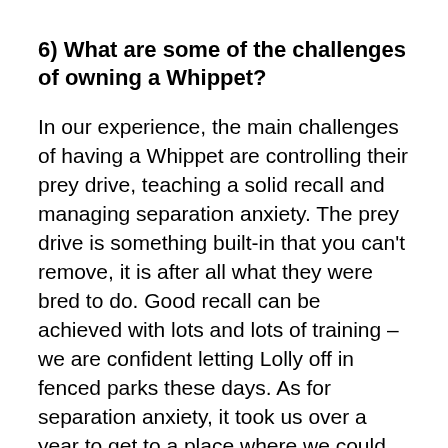6) What are some of the challenges of owning a Whippet?
In our experience, the main challenges of having a Whippet are controlling their prey drive, teaching a solid recall and managing separation anxiety. The prey drive is something built-in that you can't remove, it is after all what they were bred to do. Good recall can be achieved with lots and lots of training – we are confident letting Lolly off in fenced parks these days. As for separation anxiety, it took us over a year to get to a place where we could leave Lolly in the house on her own. It's hard work but it does eventually improve.